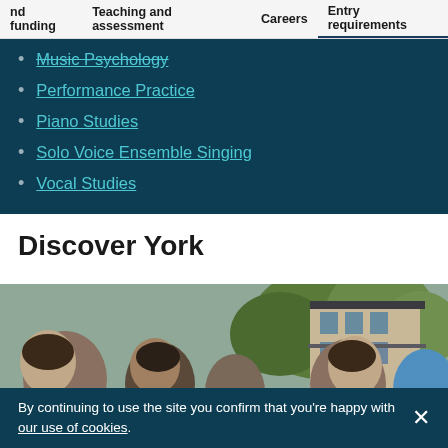nd funding   Teaching and assessment   Careers   Entry requirements
Music Psychology
Performance Practice
Piano Studies
Solo Voice Ensemble Singing
Vocal Studies
Discover York
[Figure (photo): Group of students gathered outdoors on a university campus, with trees and a modern brick and glass building in the background on a sunny day.]
By continuing to use the site you confirm that you're happy with our use of cookies.